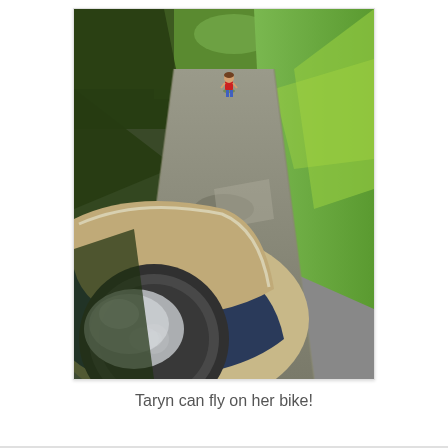[Figure (photo): Outdoor photo taken from behind a bicycle trailer, looking down a shaded asphalt path. A child in a red top and blue shorts is visible far down the path. Green grass and trees line the sides. In the foreground is the fabric canopy and wheel of a bike trailer.]
Taryn can fly on her bike!